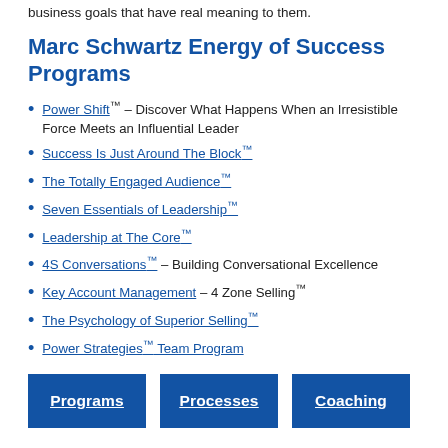business goals that have real meaning to them.
Marc Schwartz Energy of Success Programs
Power Shift™ – Discover What Happens When an Irresistible Force Meets an Influential Leader
Success Is Just Around The Block™
The Totally Engaged Audience™
Seven Essentials of Leadership™
Leadership at The Core™
4S Conversations™ – Building Conversational Excellence
Key Account Management – 4 Zone Selling™
The Psychology of Superior Selling™
Power Strategies™ Team Program
Programs | Processes | Coaching